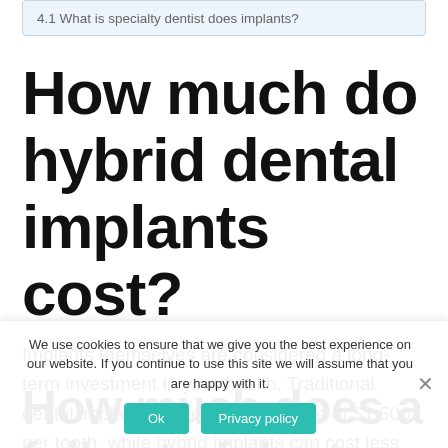4.1 What is specialty dentist does implants?
How much do hybrid dental implants cost?
Implants themselves are considered a long-term investment in your health. Traditional dental implants can cost an average of $1,500 per tooth, while hybrid implants can cost less than $10,000 for the whole mouth.
How much does a full set of denture implants cost?
We use cookies to ensure that we give you the best experience on our website. If you continue to use this site we will assume that you are happy with it.